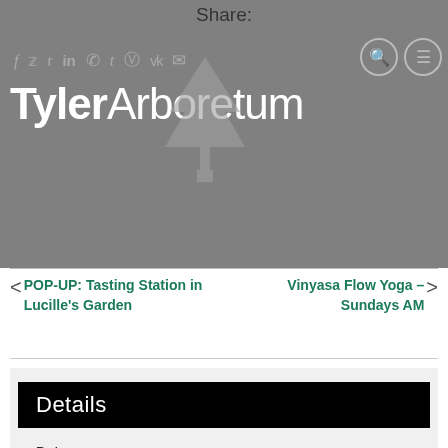Share:
[Figure (logo): Tyler Arboretum logo with tree icon and text]
< POP-UP: Tasting Station in Lucille's Garden
Vinyasa Flow Yoga – Sundays AM >
Details
Date:
July 9
Time: